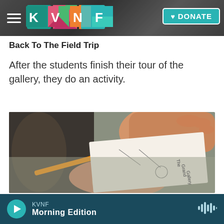KVNF | DONATE
Back To The Field Trip
After the students finish their tour of the gallery, they do an activity.
[Figure (photo): A child's hand holding an orange pencil drawing on paper, with text 'The Grand Gallery' visible on the drawing.]
KVNF Morning Edition